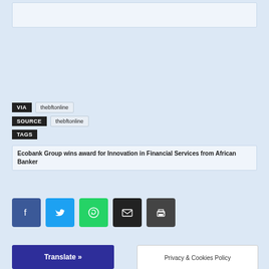VIA   thebftonline
SOURCE   thebftonline
TAGS
Ecobank Group wins award for Innovation in Financial Services from African Banker
[Figure (infographic): Social share buttons: Facebook (blue), Twitter (cyan), WhatsApp (green), Email (black), Print (dark gray)]
Translate »
Privacy & Cookies Policy